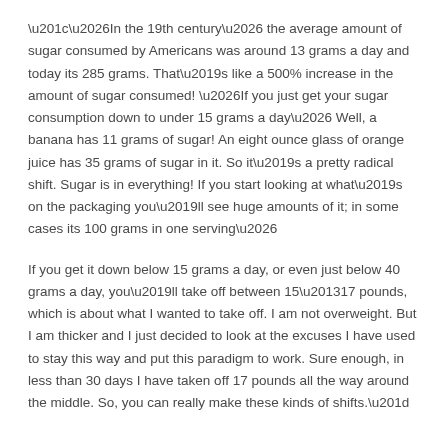“…In the 19th century… the average amount of sugar consumed by Americans was around 13 grams a day and today its 285 grams. That’s like a 500% increase in the amount of sugar consumed! …If you just get your sugar consumption down to under 15 grams a day… Well, a banana has 11 grams of sugar! An eight ounce glass of orange juice has 35 grams of sugar in it. So it’s a pretty radical shift. Sugar is in everything! If you start looking at what’s on the packaging you’ll see huge amounts of it; in some cases its 100 grams in one serving…
If you get it down below 15 grams a day, or even just below 40 grams a day, you’ll take off between 15–17 pounds, which is about what I wanted to take off. I am not overweight. But I am thicker and I just decided to look at the excuses I have used to stay this way and put this paradigm to work. Sure enough, in less than 30 days I have taken off 17 pounds all the way around the middle. So, you can really make these kinds of shifts.”